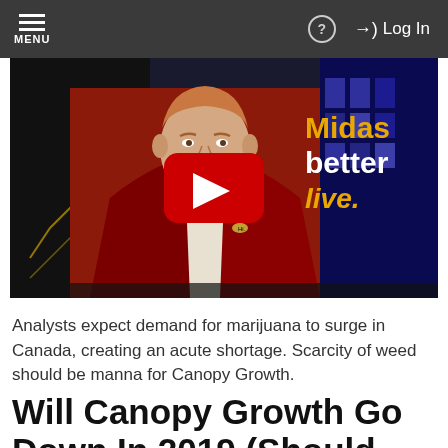MENU | ? | Log In
[Figure (screenshot): YouTube video thumbnail showing a man in a red jacket seated, with 'Midas better live.' text on background and a red YouTube play button in the center]
Analysts expect demand for marijuana to surge in Canada, creating an acute shortage. Scarcity of weed should be manna for Canopy Growth.
Will Canopy Growth Go Down In 2019 (Should